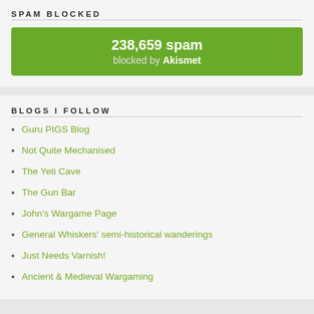SPAM BLOCKED
238,659 spam blocked by Akismet
BLOGS I FOLLOW
Guru PIGS Blog
Not Quite Mechanised
The Yeti Cave
The Gun Bar
John's Wargame Page
General Whiskers' semi-historical wanderings
Just Needs Varnish!
Ancient & Medieval Wargaming